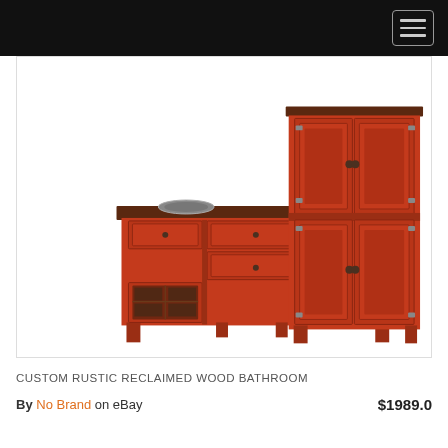[Figure (photo): Photo of a custom rustic reclaimed wood bathroom set consisting of a wide double-sink vanity with red-painted distressed wood, drawers, and glass-panel cabinet doors, alongside a tall matching red-painted armoire/linen cabinet with paneled doors and metal hinges.]
CUSTOM RUSTIC RECLAIMED WOOD BATHROOM
By No Brand on eBay   $1989.0